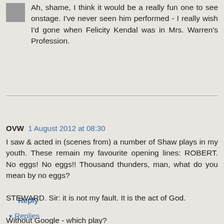Ah, shame, I think it would be a really fun one to see onstage. I've never seen him performed - I really wish I'd gone when Felicity Kendal was in Mrs. Warren's Profession.
Reply
OVW  1 August 2012 at 08:30
I saw & acted in (scenes from) a number of Shaw plays in my youth. These remain my favourite opening lines: ROBERT. No eggs! No eggs!! Thousand thunders, man, what do you mean by no eggs?

STEWARD. Sir: it is not my fault. It is the act of God.

Without Google - which play?
Reply
▾ Replies